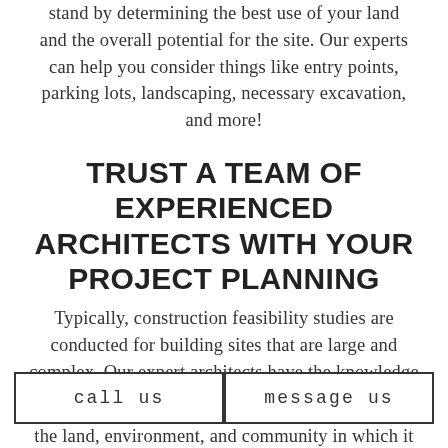stand by determining the best use of your land and the overall potential for the site. Our experts can help you consider things like entry points, parking lots, landscaping, necessary excavation, and more!
TRUST A TEAM OF EXPERIENCED ARCHITECTS WITH YOUR PROJECT PLANNING
Typically, construction feasibility studies are conducted for building sites that are large and complex. Our expert architects have the knowledge
call us    message us
the land, environment, and community in which it